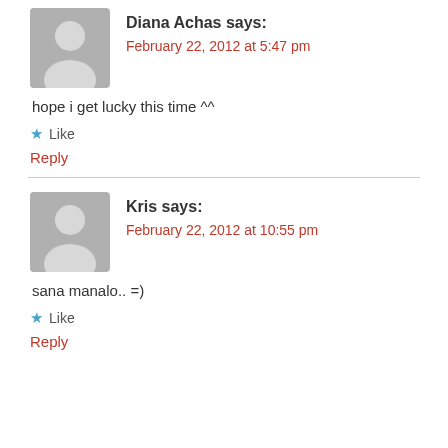[Figure (illustration): Gray placeholder avatar icon for user Diana Achas]
Diana Achas says:
February 22, 2012 at 5:47 pm
hope i get lucky this time ^^
★ Like
Reply
[Figure (illustration): Gray placeholder avatar icon for user Kris]
Kris says:
February 22, 2012 at 10:55 pm
sana manalo.. =)
★ Like
Reply